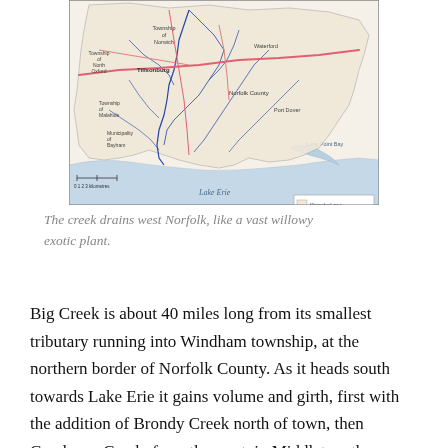[Figure (map): Map of Big Creek watershed draining west Norfolk County, showing watershed area, rivers/creeks, major highways, secondary highways, other roads, and municipal boundaries. Features Lake Erie to the south, Long Point Bay, and surrounding townships including Norwich, Windham, and municipalities like Middleton. Legend visible in lower right.]
The creek drains west Norfolk, like a vast willowy exotic plant.
Big Creek is about 40 miles long from its smallest tributary running into Windham township, at the northern border of Norfolk County. As it heads south towards Lake Erie it gains volume and girth, first with the addition of Brondy Creek north of town, then Cranberry Creek, from the west, in Middleton, then Trout Creek and Silver Creek come from the east, in Charlotteville.  Further south it expands